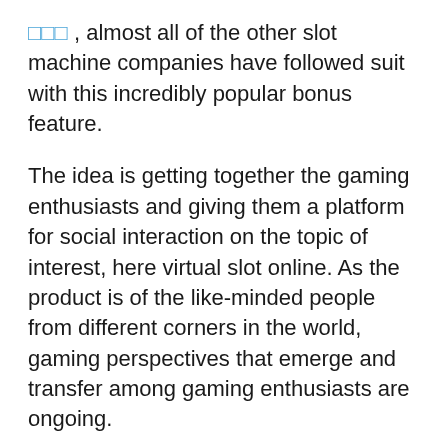□□□ , almost all of the other slot machine companies have followed suit with this incredibly popular bonus feature.
The idea is getting together the gaming enthusiasts and giving them a platform for social interaction on the topic of interest, here virtual slot online. As the product is of the like-minded people from different corners in the world, gaming perspectives that emerge and transfer among gaming enthusiasts are ongoing.
There are wide ranging online slot games which are free or you can pay for them, actually betting online and can present large profits. They all have fancy 'slot machines' sharp graphics and all the stops and whistles